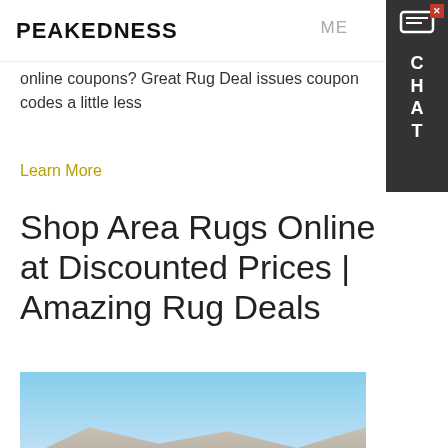PEAKEDNESS
online coupons? Great Rug Deal issues coupon codes a little less
Learn More
Shop Area Rugs Online at Discounted Prices | Amazing Rug Deals
[Figure (photo): Outdoor scene showing rocky terrain/quarry with machinery at the base under a blue sky]
Hey, we are live 24/7. How may I help you?